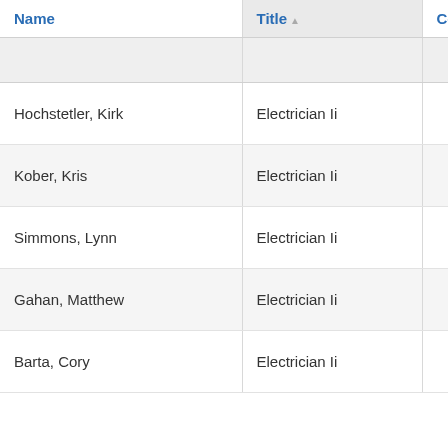| Name | Title▲ | Contact | Unit |
| --- | --- | --- | --- |
|  |  |  |  |
| Hochstetler, Kirk | Electrician Ii |  |  |
| Kober, Kris | Electrician Ii |  |  |
| Simmons, Lynn | Electrician Ii |  |  |
| Gahan, Matthew | Electrician Ii |  |  |
| Barta, Cory | Electrician Ii |  |  |